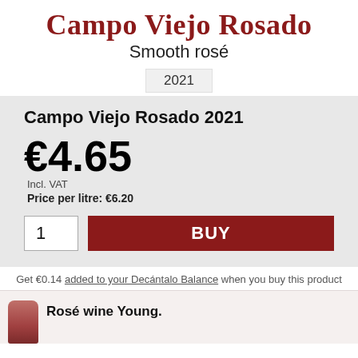Campo Viejo Rosado
Smooth rosé
2021
Campo Viejo Rosado 2021
€4.65 Incl. VAT Price per litre: €6.20
1  BUY
Get €0.14 added to your Decántalo Balance when you buy this product
Rosé wine Young.